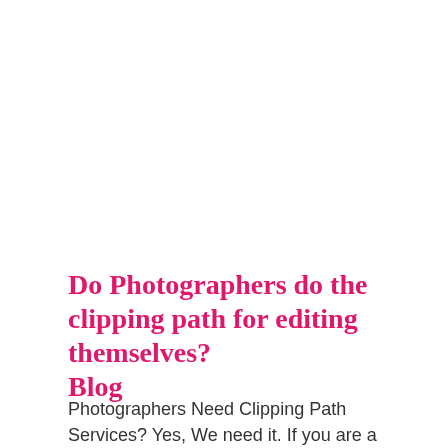Do Photographers do the clipping path for editing themselves? Blog
Photographers Need Clipping Path Services? Yes, We need it. If you are a